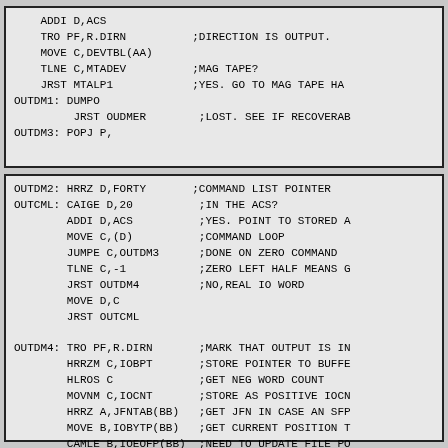ADDI D,ACS
    TRO PF,R.DIRN          ;DIRECTION IS OUTPUT.
    MOVE C,DEVTBL(AA)
    TLNE C,MTADEV          ;MAG TAPE?
    JRST MTALP1            ;YES. GO TO MAG TAPE HA
OUTDM1: DUMPO
         JRST OUDMER        ;LOST. SEE IF RECOVERAB
OUTDM3: POPJ P,
OUTDM2: HRRZ D,FORTY       ;COMMAND LIST POINTER
OUTCML: CAIGE D,20          ;IN THE ACS?
        ADDI D,ACS          ;YES. POINT TO STORED A
        MOVE C,(D)          ;COMMAND LOOP
        JUMPE C,OUTDM3      ;DONE ON ZERO COMMAND
        TLNE C,-1           ;ZERO LEFT HALF MEANS G
        JRST OUTDM4         ;NO,REAL IO WORD
        MOVE D,C
        JRST OUTCML

OUTDM4: TRO PF,R.DIRN       ;MARK THAT OUTPUT IS IN
        HRRZM C,IOBPT       ;STORE POINTER TO BUFFE
        HLROS C             ;GET NEG WORD COUNT
        MOVNM C,IOCNT       ;STORE AS POSITIVE IOCN
        HRRZ A,JFNTAB(BB)   ;GET JFN IN CASE AN SFP
        MOVE B,IOBYTP(BB)   ;GET CURRENT POSITION T
        CAMLE B,IOEOFP(BB)  ;NEED TO UPDATE FILE PO
        SFPTR               ;YES, ALWAYS START ON A
           JFCL
        PUSH P,D            ;SAVE THE COUNTER